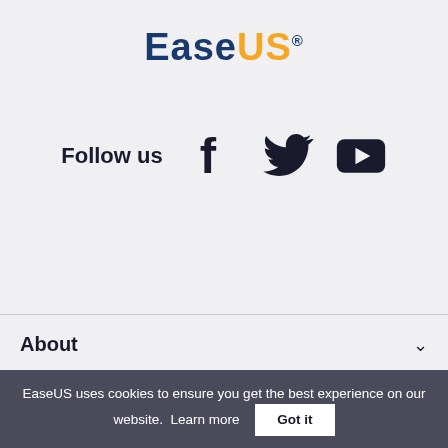[Figure (logo): EaseUS logo with 'Ease' in dark blue bold and 'US' in orange bold, with registered trademark symbol]
Follow us
[Figure (illustration): Social media icons: Facebook (f), Twitter (bird), YouTube (play button)]
About
Resources
EaseUS uses cookies to ensure you get the best experience on our website.  Learn more   Got it